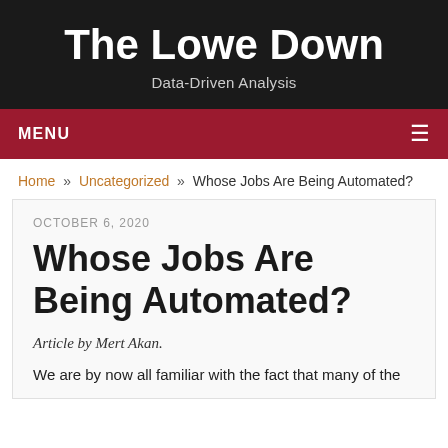The Lowe Down
Data-Driven Analysis
MENU
Home » Uncategorized » Whose Jobs Are Being Automated?
OCTOBER 6, 2020
Whose Jobs Are Being Automated?
Article by Mert Akan.
We are by now all familiar with the fact that many of the